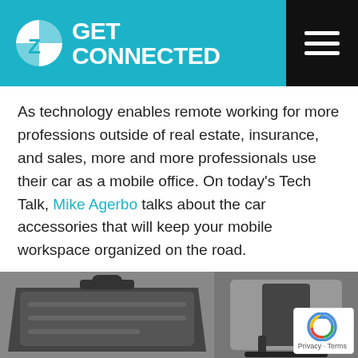GET CONNECTED
As technology enables remote working for more professions outside of real estate, insurance, and sales, more and more professionals use their car as a mobile office. On today’s Tech Talk, Mike Agerbo talks about the car accessories that will keep your mobile workspace organized on the road.
Featured Products
[Figure (photo): Two product photos side by side: left shows a dark plastic laptop/desk tray organizer with cutouts, right shows a black car-mount or desk stand accessory. These are car accessories for a mobile office.]